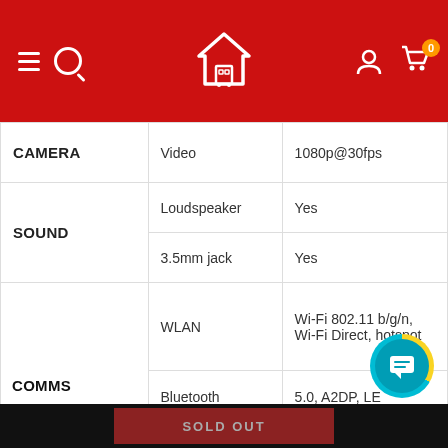[Figure (screenshot): E-commerce website header with red background, hamburger menu icon, search icon, house/cart logo in center, user account icon, and shopping cart icon with badge showing 0]
| Category | Feature | Value |
| --- | --- | --- |
| CAMERA | Video | 1080p@30fps |
| SOUND | Loudspeaker | Yes |
| SOUND | 3.5mm jack | Yes |
| COMMS | WLAN | Wi-Fi 802.11 b/g/n, Wi-Fi Direct, hotspot |
| COMMS | Bluetooth | 5.0, A2DP, LE |
| COMMS | GPS | Yes, with A-GPS, GLON... GALILEO... |
SOLD OUT